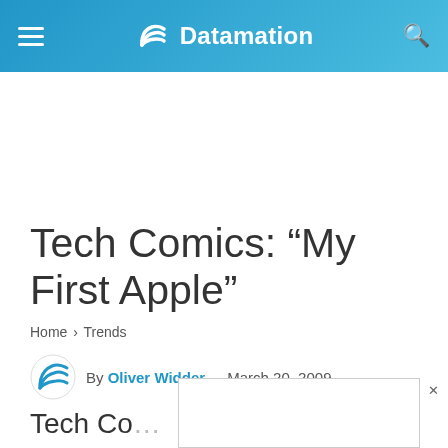Datamation
Tech Comics: “My First Apple”
Home › Trends
By Oliver Widder   March 20, 2009
Tech Co...